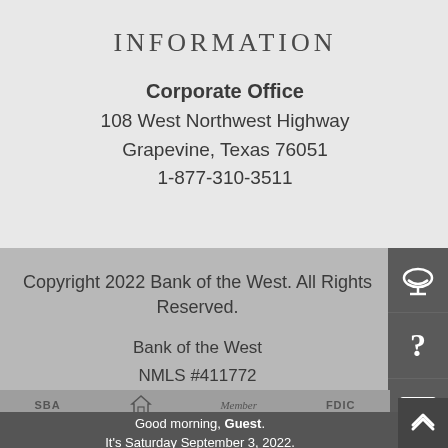INFORMATION
Corporate Office
108 West Northwest Highway
Grapevine, Texas 76051
1-877-310-3511
Copyright 2022 Bank of the West. All Rights Reserved.
Bank of the West
NMLS #411772
Good morning, Guest. It's Saturday September 3, 2022.